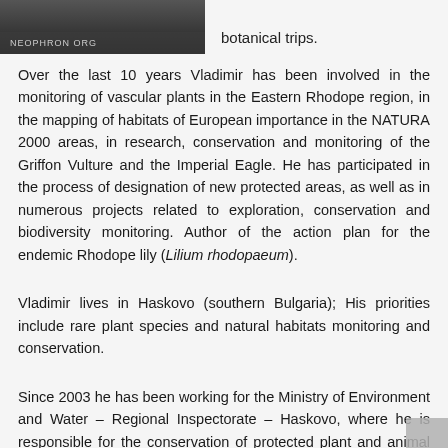[Figure (photo): Partial photo of a person (cropped at top), with a logo/watermark overlay reading 'NEOPHRON' or similar text in the lower portion of the image.]
botanical trips.
Over the last 10 years Vladimir has been involved in the monitoring of vascular plants in the Eastern Rhodope region, in the mapping of habitats of European importance in the NATURA 2000 areas, in research, conservation and monitoring of the Griffon Vulture and the Imperial Eagle. He has participated in the process of designation of new protected areas, as well as in numerous projects related to exploration, conservation and biodiversity monitoring. Author of the action plan for the endemic Rhodope lily (Lilium rhodopaeum).
Vladimir lives in Haskovo (southern Bulgaria); His priorities include rare plant species and natural habitats monitoring and conservation.
Since 2003 he has been working for the Ministry of Environment and Water – Regional Inspectorate – Haskovo, where he is responsible for the conservation of protected plant and animal species, protected areas, building the network of protected areas Natura 2000, the national biodiversity monitoring system and others.